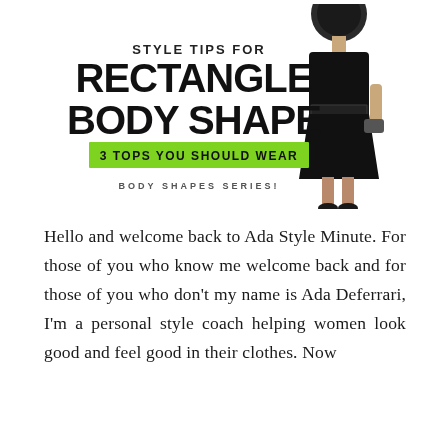[Figure (illustration): Promotional banner image for Ada Style Minute blog post. White background with large bold black text reading 'STYLE TIPS FOR RECTANGLE BODY SHAPE' with a green highlighted badge reading '3 TOPS YOU SHOULD WEAR' and smaller text 'BODY SHAPES SERIES'. A woman wearing a black belted dress is shown on the right side of the banner.]
Hello and welcome back to Ada Style Minute. For those of you who know me welcome back and for those of you who don't my name is Ada Deferrari, I'm a personal style coach helping women look good and feel good in their clothes. Now